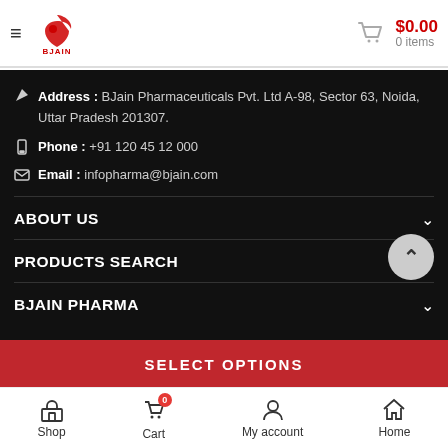BJain Pharmaceuticals — $0.00 0 items
Address : BJain Pharmaceuticals Pvt. Ltd A-98, Sector 63, Noida, Uttar Pradesh 201307.
Phone : +91 120 45 12 000
Email : infopharma@bjain.com
ABOUT US
PRODUCTS SEARCH
BJAIN PHARMA
SELECT OPTIONS
Shop  Cart  My account  Home